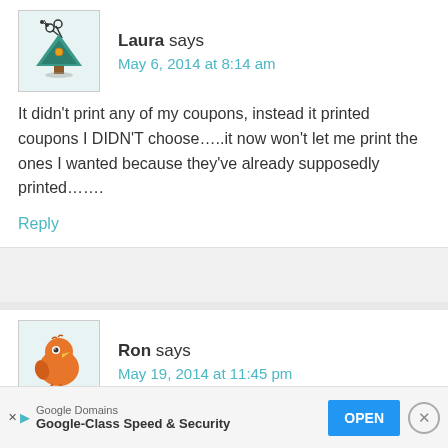[Figure (illustration): Avatar icon of a decorated Christmas tree with scissors, cartoon style, teal/green colors]
Laura says
May 6, 2014 at 8:14 am
It didn't print any of my coupons, instead it printed coupons I DIDN'T choose…..it now won't let me print the ones I wanted because they've already supposedly printed…….
Reply
[Figure (illustration): Avatar icon of an orange cartoon bird/chick character, surprised expression]
Ron says
May 19, 2014 at 11:45 pm
I am using the latest version of Firefox, I have this site... ...ed all...
Google Domains
Google-Class Speed & Security
OPEN